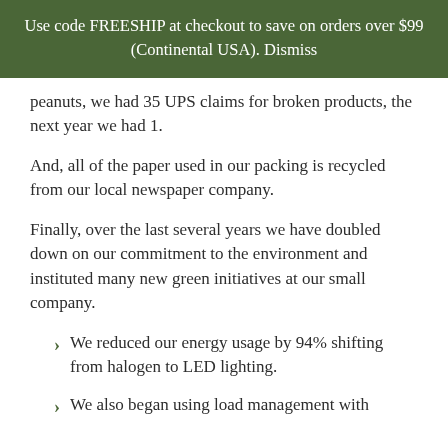Use code FREESHIP at checkout to save on orders over $99 (Continental USA). Dismiss
peanuts, we had 35 UPS claims for broken products, the next year we had 1.
And, all of the paper used in our packing is recycled from our local newspaper company.
Finally, over the last several years we have doubled down on our commitment to the environment and instituted many new green initiatives at our small company.
We reduced our energy usage by 94% shifting from halogen to LED lighting.
We also began using load management with